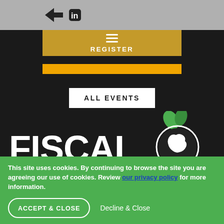[Figure (screenshot): Top gray navigation bar with social media icons (arrow and LinkedIn-like icons)]
[Figure (screenshot): Golden/brown REGISTER button with hamburger menu icon in white text]
ALL EVENTS
[Figure (logo): Fiscal Matters logo - large white bold text reading FISCAL MATTERS with a globe icon showing Europe and green leaves on top]
This site uses cookies. By continuing to browse the site you are agreeing our use of cookies. Review our privacy policy for more information.
ACCEPT & CLOSE
Decline & Close